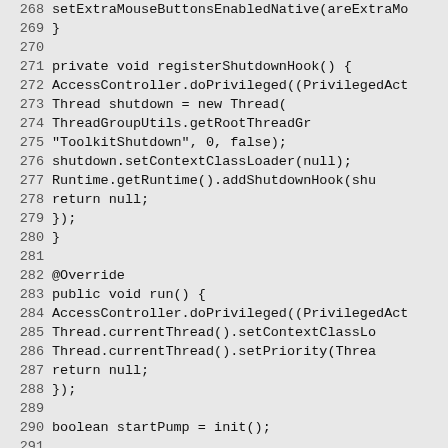[Figure (screenshot): Java source code listing showing lines 268-297, including methods setExtraMouseButtonsEnabledNative, registerShutdownHook with AccessController.doPrivileged, Thread construction, shutdown hooks, and run() method with boolean startPump, registerShutdownHook, synchronized block.]